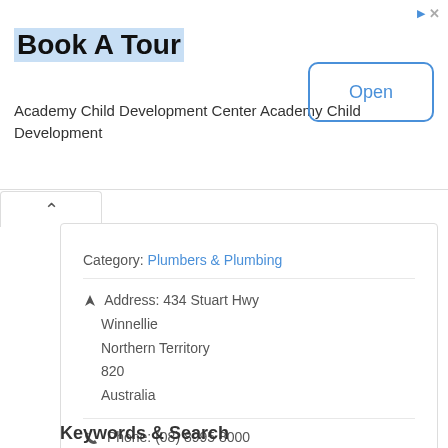Book A Tour
Academy Child Development Center Academy Child Development
Open
Category: Plumbers & Plumbing
Address: 434 Stuart Hwy
Winnellie
Northern Territory
820
Australia
Phone: (08) 8995 8000
Spoken Language: English
Keywords & Search